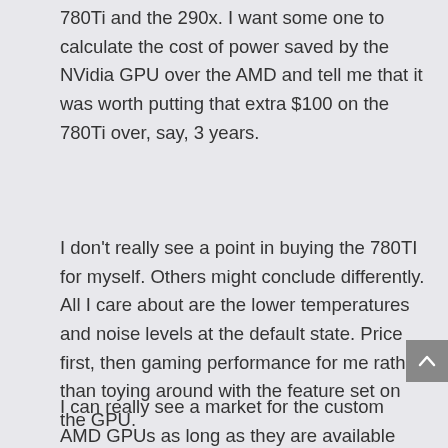780Ti and the 290x. I want some one to calculate the cost of power saved by the NVidia GPU over the AMD and tell me that it was worth putting that extra $100 on the 780Ti over, say, 3 years.
I don't really see a point in buying the 780TI for myself. Others might conclude differently. All I care about are the lower temperatures and noise levels at the default state. Price first, then gaming performance for me rather than toying around with the feature set on the GPU.
I can really see a market for the custom AMD GPUs as long as they are available